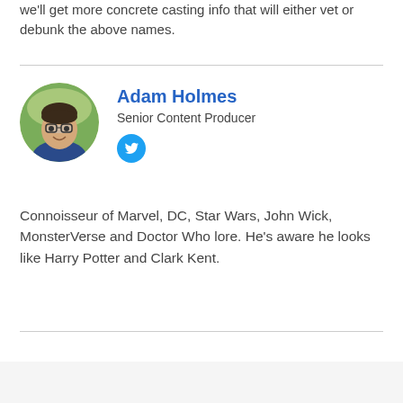we'll get more concrete casting info that will either vet or debunk the above names.
[Figure (photo): Circular profile photo of Adam Holmes, a young man with glasses and short dark hair, smiling, wearing a dark blue shirt, outdoors with green background.]
Adam Holmes
Senior Content Producer
[Figure (logo): Twitter bird icon in blue circle]
Connoisseur of Marvel, DC, Star Wars, John Wick, MonsterVerse and Doctor Who lore. He's aware he looks like Harry Potter and Clark Kent.